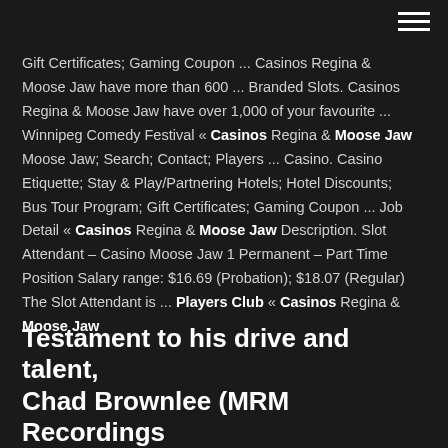Gift Certificates; Gaming Coupon ... Casinos Regina & Moose Jaw have more than 600 ... Branded Slots. Casinos Regina & Moose Jaw have over 1,000 of your favourite ... Winnipeg Comedy Festival « Casinos Regina & Moose Jaw Moose Jaw; Search; Contact; Players ... Casino. Casino Etiquette; Stay & Play/Partnering Hotels; Hotel Discounts; Bus Tour Program; Gift Certificates; Gaming Coupon ... Job Detail « Casinos Regina & Moose Jaw Description. Slot Attendant – Casino Moose Jaw 1 Permanent – Part Time Position Salary range: $16.69 (Probation); $18.07 (Regular) The Slot Attendant is ... Players Club « Casinos Regina & Moose Jaw
Testament to his drive and talent, Chad Brownlee (MRM Recordings